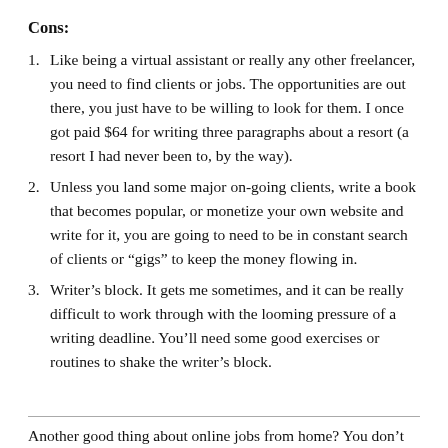Cons:
Like being a virtual assistant or really any other freelancer, you need to find clients or jobs. The opportunities are out there, you just have to be willing to look for them. I once got paid $64 for writing three paragraphs about a resort (a resort I had never been to, by the way).
Unless you land some major on-going clients, write a book that becomes popular, or monetize your own website and write for it, you are going to need to be in constant search of clients or “gigs” to keep the money flowing in.
Writer’s block. It gets me sometimes, and it can be really difficult to work through with the looming pressure of a writing deadline. You’ll need some good exercises or routines to shake the writer’s block.
Another good thing about online jobs from home? You don’t